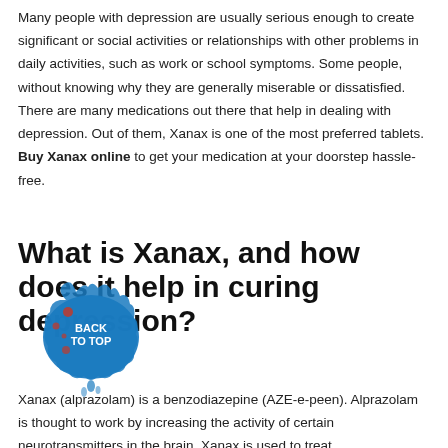Many people with depression are usually serious enough to create significant or social activities or relationships with other problems in daily activities, such as work or school symptoms. Some people, without knowing why they are generally miserable or dissatisfied. There are many medications out there that help in dealing with depression. Out of them, Xanax is one of the most preferred tablets. Buy Xanax online to get your medication at your doorstep hassle-free.
What is Xanax, and how does it help in curing depression?
Xanax (alprazolam) is a benzodiazepine (AZE-e-peen). Alprazolam is thought to work by increasing the activity of certain neurotransmitters in the brain. Xanax is used to treat